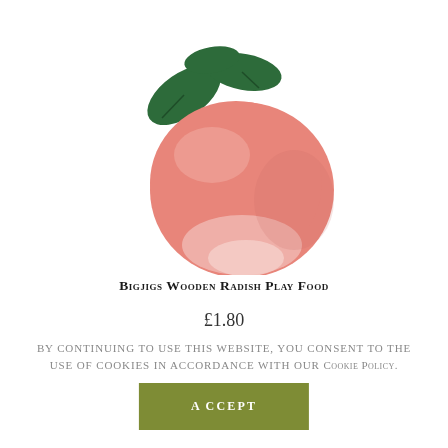[Figure (photo): Photograph of a Bigjigs wooden radish play food toy with a round salmon-pink wooden body and dark green felt leaves on a white background.]
Bigjigs Wooden Radish Play Food
£1.80
By continuing to use this website, you consent to the use of cookies in accordance with our Cookie Policy.
ACCEPT